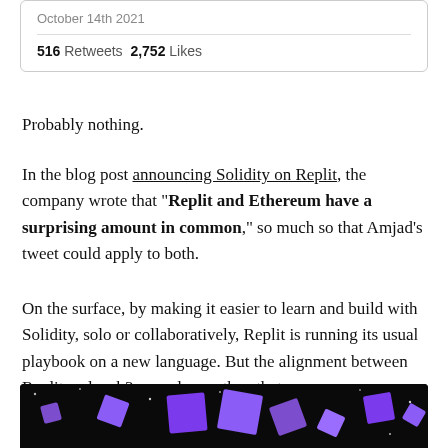October 14th 2021
516 Retweets  2,752 Likes
Probably nothing.
In the blog post announcing Solidity on Replit, the company wrote that “Replit and Ethereum have a surprising amount in common,” so much so that Amjad’s tweet could apply to both.
On the surface, by making it easier to learn and build with Solidity, solo or collaboratively, Replit is running its usual playbook on a new language. But the alignment between Replit and web3 goes deeper than that.
[Figure (illustration): Dark background with floating purple 3D cube shapes scattered across the image, with small white dots resembling stars.]